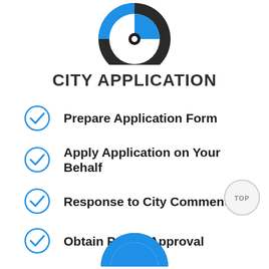[Figure (illustration): Partial circular icon with black outer ring and blue/white fill, cropped at top of page]
CITY APPLICATION
Prepare Application Form
Apply Application on Your Behalf
Response to City Comments
Obtain Permit Approval
[Figure (illustration): TOP button — circle with gray border and 'TOP' text inside]
[Figure (illustration): Partial circular icon at bottom of page, black outer ring with blue arc, cropped]